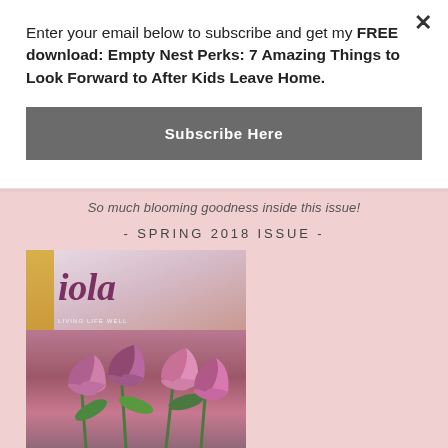Enter your email below to subscribe and get my FREE download: Empty Nest Perks: 7 Amazing Things to Look Forward to After Kids Leave Home.
Subscribe Here
So much blooming goodness inside this issue!
- SPRING 2018 ISSUE -
[Figure (photo): Magazine cover for 'iola - Living Life Well' Spring 2018 issue, showing tulips in pink/purple colors with a gold bar on the left side]